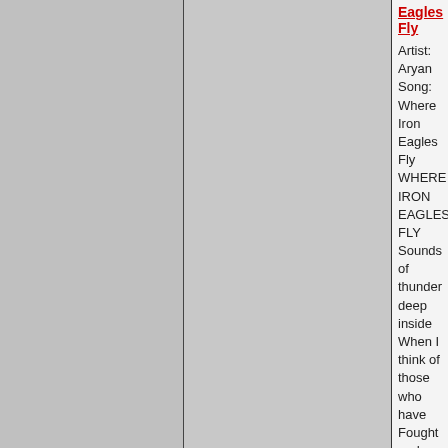Eagles Fly
Artist: Aryan Song: Where Iron Eagles Fly WHERE IRON EAGLES FLY Sounds of thunder deep inside When I think of those who have Fought and died Remembrance days they come and go but in these graves are men who know
May 31st, 2011, 06:32 PM by VikingWarrior Views: 3,870 - Comments: 0 Tags: full list...
Wolfnacht Music - Siehst du im Osten das Morgenrot
Nothing like a